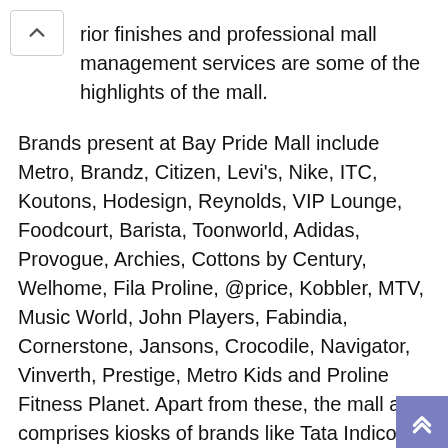rior finishes and professional mall management services are some of the highlights of the mall.
Brands present at Bay Pride Mall include Metro, Brandz, Citizen, Levi's, Nike, ITC, Koutons, Hodesign, Reynolds, VIP Lounge, Foodcourt, Barista, Toonworld, Adidas, Provogue, Archies, Cottons by Century, Welhome, Fila Proline, @price, Kobbler, MTV, Music World, John Players, Fabindia, Cornerstone, Jansons, Crocodile, Navigator, Vinverth, Prestige, Metro Kids and Proline Fitness Planet. Apart from these, the mall also comprises kiosks of brands like Tata Indicom, Nokia, DC Books, Virgin Mobile and Mystique. You can check out the complete list of Tenants at Bay Pride Mall here.